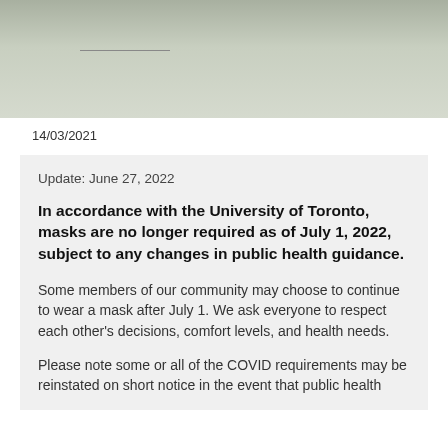[Figure (photo): Outdoor photo banner, appears to show a sports field or campus area with green/grey tones]
14/03/2021
Update: June 27, 2022
In accordance with the University of Toronto, masks are no longer required as of July 1, 2022, subject to any changes in public health guidance.
Some members of our community may choose to continue to wear a mask after July 1. We ask everyone to respect each other's decisions, comfort levels, and health needs.
Please note some or all of the COVID requirements may be reinstated on short notice in the event that public health